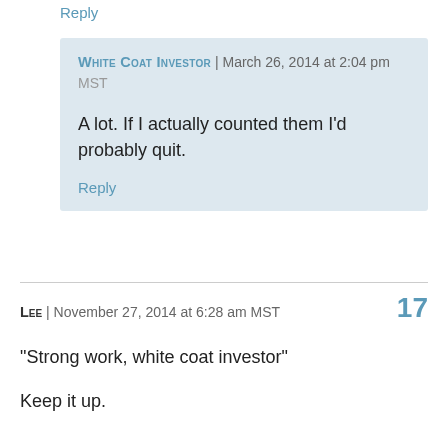Reply
White Coat Investor | March 26, 2014 at 2:04 pm MST
A lot. If I actually counted them I'd probably quit.
Reply
Lee | November 27, 2014 at 6:28 am MST  17
“Strong work, white coat investor”

Keep it up.